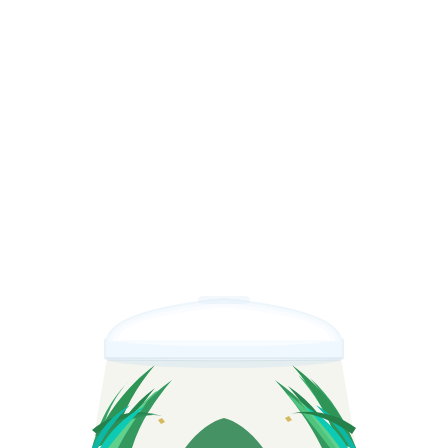[Figure (photo): A paper cup with a white lid viewed from slightly above. The cup body features a tropical leaf pattern with green palm/monstera leaves on a white background. The white plastic lid sits on top with a domed profile. The cup is photographed against a pure white background, with only the bottom portion of the cup visible in the lower section of the image.]